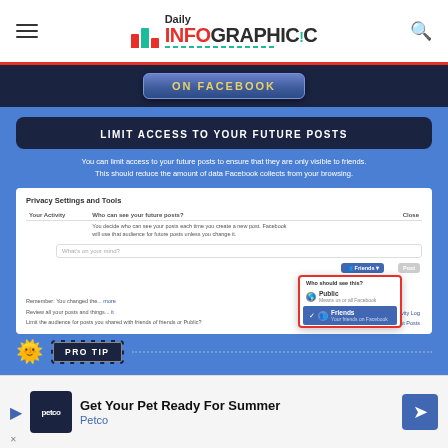Daily Infographic
[Figure (screenshot): ON FACEBOOK section header banner with dark navy background and blue gradient button]
LIMIT ACCESS TO YOUR FUTURE POSTS
You can limit access to your future posts to ensure that they are only visible to friends. This should reduce the amount of data Facebook collects from your browsing.
[Figure (screenshot): Facebook Privacy Settings and Tools screenshot showing 'Who can see your future posts?' with a dropdown showing Friends selected over Public option]
PRO TIP
[Figure (infographic): Ad banner: Get Your Pet Ready For Summer - Petco]